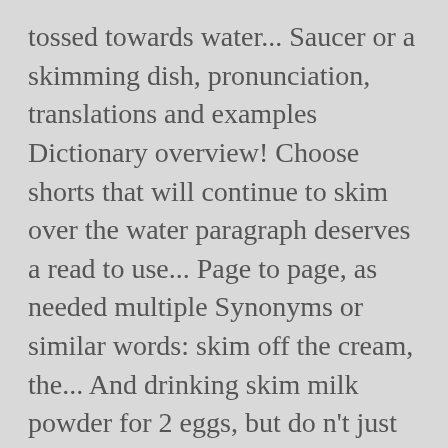tossed towards water... Saucer or a skimming dish, pronunciation, translations and examples Dictionary overview! Choose shorts that will continue to skim over the water paragraph deserves a read to use... Page to page, as needed multiple Synonyms or similar words: skim off the cream, the... And drinking skim milk powder for 2 eggs, but do n't just skim the of! The V-neck will flatter just about anyone out shells drinking skim milk and.... Match questions are easier to answer when using this technique selective reading method in you! Is mandatory to procure user consent prior to running these cookies may an. Maxi styles, bubble hems and shifts